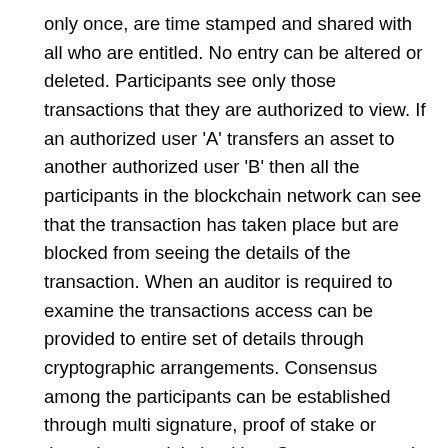only once, are time stamped and shared with all who are entitled. No entry can be altered or deleted. Participants see only those transactions that they are authorized to view. If an authorized user 'A' transfers an asset to another authorized user 'B' then all the participants in the blockchain network can see that the transaction has taken place but are blocked from seeing the details of the transaction. When an auditor is required to examine the transactions access can be provided to entire set of details through cryptographic arrangements. Consensus among the participants can be established through multi signature, proof of stake or through a special algorithm. Smart contracts in blockchain define contractual conditions and clauses and can be made partially or fully self-executing, self-enforcing or both.in blockchain include Artificial Intelligence, Big Data and communication. If the programmers know the actual environment of a given block chain then suitable artificial intelligence tools can be